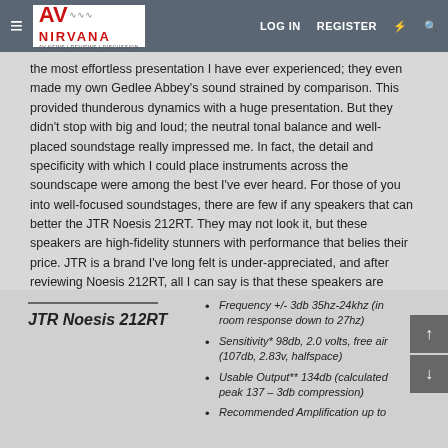AV Nirvana - LOG IN  REGISTER
the most effortless presentation I have ever experienced; they even made my own Gedlee Abbey's sound strained by comparison. This provided thunderous dynamics with a huge presentation. But they didn't stop with big and loud; the neutral tonal balance and well-placed soundstage really impressed me. In fact, the detail and specificity with which I could place instruments across the soundscape were among the best I've ever heard. For those of you into well-focused soundstages, there are few if any speakers that can better the JTR Noesis 212RT. They may not look it, but these speakers are high-fidelity stunners with performance that belies their price. JTR is a brand I've long felt is under-appreciated, and after reviewing Noesis 212RT, all I can say is that these speakers are highly recommended.
JTR Noesis 212RT
Frequency +/- 3db 35hz-24khz (in room response down to 27hz)
Sensitivity* 98db, 2.0 volts, free air (107db, 2.83v, halfspace)
Usable Output** 134db (calculated peak 137 – 3db compression)
Recommended Amplification up to